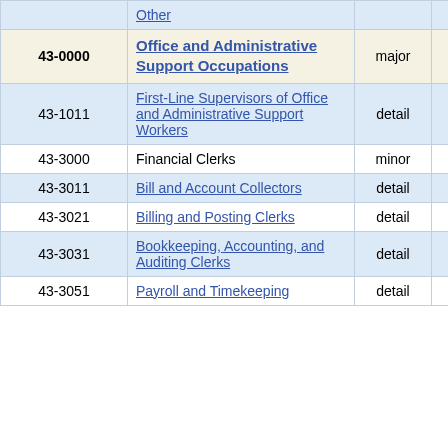| Code | Title | Level | Employment | Pct |
| --- | --- | --- | --- | --- |
|  | Other |  |  |  |
| 43-0000 | Office and Administrative Support Occupations | major | 17,990 | 1.8% |
| 43-1011 | First-Line Supervisors of Office and Administrative Support Workers | detail | 1,080 | 4.4% |
| 43-3000 | Financial Clerks | minor | 2,480 | 4.3% |
| 43-3011 | Bill and Account Collectors | detail | 50 | 15.8% |
| 43-3021 | Billing and Posting Clerks | detail | 250 | 14.7% |
| 43-3031 | Bookkeeping, Accounting, and Auditing Clerks | detail | 1,850 | 4.9% |
| 43-3051 | Payroll and Timekeeping | detail | 170 | 7.9% |